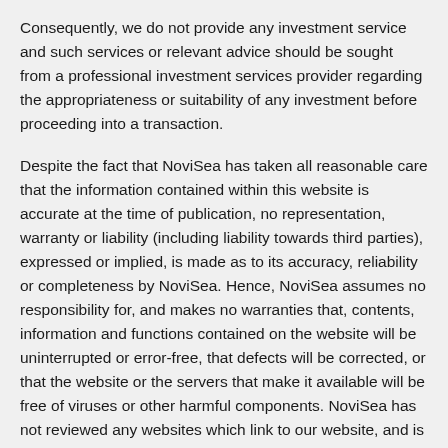Consequently, we do not provide any investment service and such services or relevant advice should be sought from a professional investment services provider regarding the appropriateness or suitability of any investment before proceeding into a transaction.
Despite the fact that NoviSea has taken all reasonable care that the information contained within this website is accurate at the time of publication, no representation, warranty or liability (including liability towards third parties), expressed or implied, is made as to its accuracy, reliability or completeness by NoviSea. Hence, NoviSea assumes no responsibility for, and makes no warranties that, contents, information and functions contained on the website will be uninterrupted or error-free, that defects will be corrected, or that the website or the servers that make it available will be free of viruses or other harmful components. NoviSea has not reviewed any websites which link to our website, and is not responsible for the contents of off-site pages linked to from this website or any other websites linked to this website. Following links to any off-site